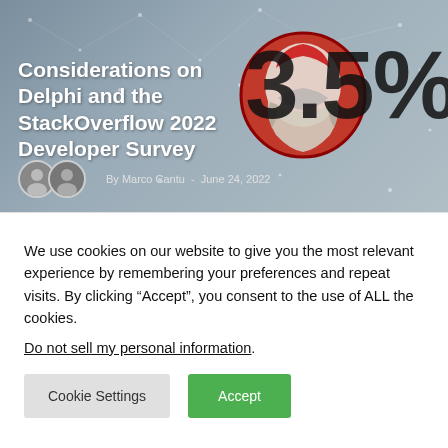[Figure (photo): Hero image with grey network background, red Delphi helmet logo circle, large '3.5%' text overlay, white article title text, and two author avatar photos with byline]
Considerations on Delphi and the StackOverflow 2022 Developer Survey
By Marco Cantu  -  June 24, 2022
We use cookies on our website to give you the most relevant experience by remembering your preferences and repeat visits. By clicking “Accept”, you consent to the use of ALL the cookies.
Do not sell my personal information.